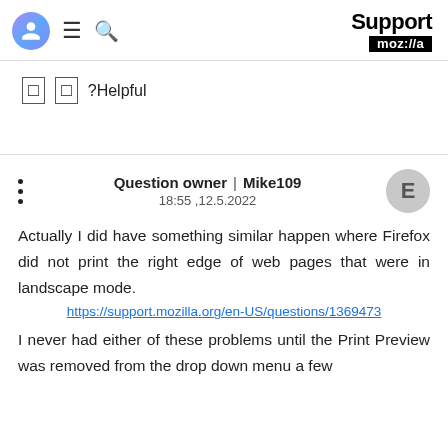Support moz://a
🔳  🔳 ?Helpful
Question owner | Mike109
18:55 ,12.5.2022
Actually I did have something similar happen where Firefox did not print the right edge of web pages that were in landscape mode.
https://support.mozilla.org/en-US/questions/1369473
I never had either of these problems until the Print Preview was removed from the drop down menu a few